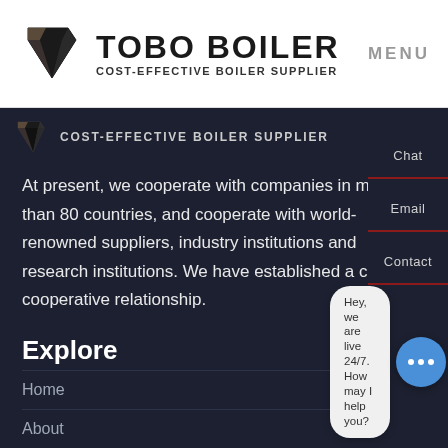[Figure (logo): Tobo Boiler logo with geometric icon and text TOBO BOILER, Cost-Effective Boiler Supplier]
MENU
COST-EFFECTIVE BOILER SUPPLIER
At present, we cooperate with companies in more than 80 countries, and cooperate with world-renowned suppliers, industry institutions and research institutions. We have established a close cooperative relationship.
Explore
Home
About
Contact
Products
Chat
Email
Contact
Hey, we are live 24/7. How may I help you?